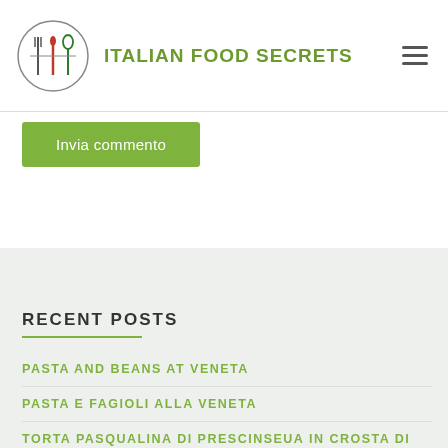ITALIAN FOOD SECRETS
Invia commento
RECENT POSTS
PASTA AND BEANS AT VENETA
PASTA E FAGIOLI ALLA VENETA
TORTA PASQUALINA DI PRESCINSEUA IN CROSTA DI FOCACCIA EN